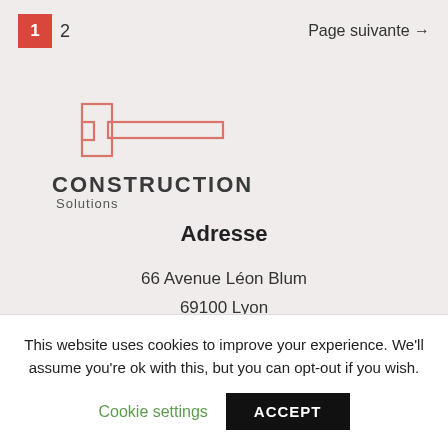1  2  Page suivante →
[Figure (logo): Construction Solutions logo with geometric building outline in red/pink and text 'CONSTRUCTION Solutions']
Adresse
66 Avenue Léon Blum
69100 Lyon
This website uses cookies to improve your experience. We'll assume you're ok with this, but you can opt-out if you wish.
Cookie settings  ACCEPT